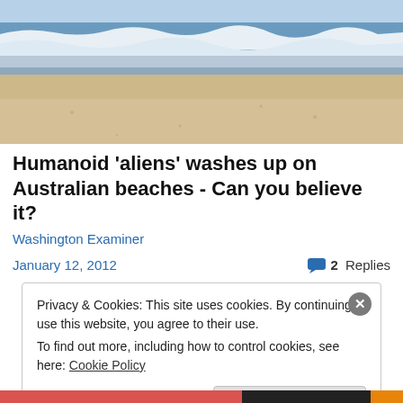[Figure (photo): Beach scene with ocean waves, white foam on water, sandy shore, partly cloudy sky]
Humanoid 'aliens' washes up on Australian beaches - Can you believe it?
Washington Examiner
January 12, 2012   2 Replies
Privacy & Cookies: This site uses cookies. By continuing to use this website, you agree to their use.
To find out more, including how to control cookies, see here: Cookie Policy
Close and accept